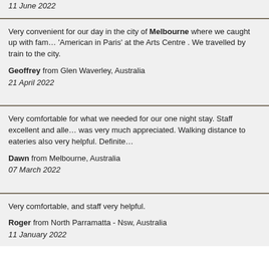11 June 2022
Very convenient for our day in the city of Melbourne where we caught up with family and saw 'American in Paris' at the Arts Centre . We travelled by train to the city.
Geoffrey from Glen Waverley, Australia
21 April 2022
Very comfortable for what we needed for our one night stay. Staff excellent and all our requests was very much appreciated. Walking distance to eateries also very helpful. Definite
Dawn from Melbourne, Australia
07 March 2022
Very comfortable, and staff very helpful.
Roger from North Parramatta - Nsw, Australia
11 January 2022